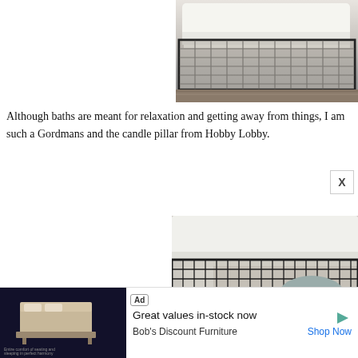[Figure (photo): Top partial view of a wire storage basket filled with white towels, sitting on a wooden shelf, cropped at the top of the page]
Although baths are meant for relaxation and getting away from things, I am such a Gordmans and the candle pillar from Hobby Lobby.
[Figure (photo): Close-up photo of a wire grid storage basket labeled 'STORAGE' containing white folded towels, sitting on a rustic wooden surface]
[Figure (photo): Advertisement for Bob's Discount Furniture showing a bed image with text 'Great values in-stock now' and 'Shop Now' link]